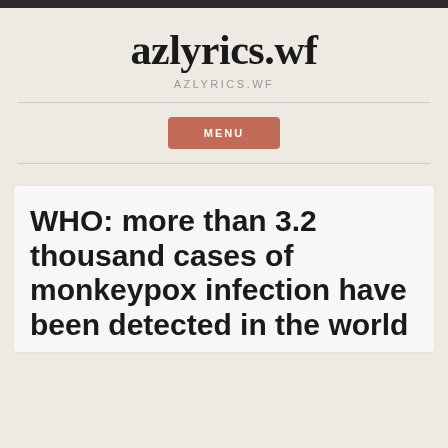azlyrics.wf
AZLYRICS.WF
MENU
WHO: more than 3.2 thousand cases of monkeypox infection have been detected in the world